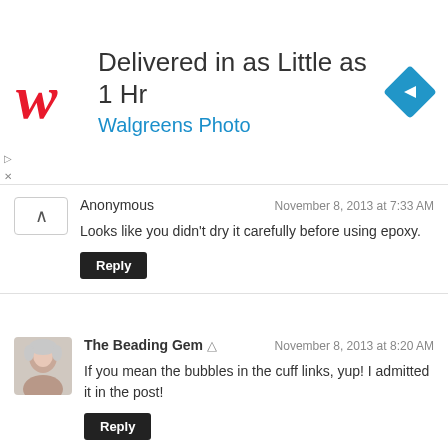[Figure (illustration): Walgreens Photo advertisement banner: Walgreens cursive W logo, headline 'Delivered in as Little as 1 Hr', subtitle 'Walgreens Photo', blue diamond navigation icon on right. Small play and close icons on far left bottom.]
Anonymous
November 8, 2013 at 7:33 AM
Looks like you didn't dry it carefully before using epoxy.
Reply
The Beading Gem
November 8, 2013 at 8:20 AM
If you mean the bubbles in the cuff links, yup! I admitted it in the post!
Reply
Enter Comment